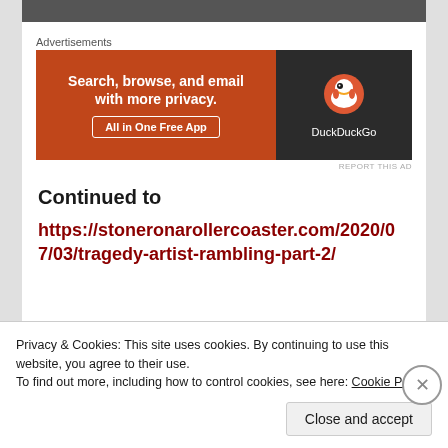[Figure (screenshot): Top image strip (partial image, dark/gray)]
Advertisements
[Figure (screenshot): DuckDuckGo advertisement banner: orange left panel with 'Search, browse, and email with more privacy. All in One Free App' and dark right panel with DuckDuckGo duck logo]
REPORT THIS AD
Continued to
https://stoneronarollercoaster.com/2020/07/03/tragedy-artist-rambling-part-2/
....
Copyright © 2020 stoneronarollercoaster – All
Privacy & Cookies: This site uses cookies. By continuing to use this website, you agree to their use.
To find out more, including how to control cookies, see here: Cookie Policy
Close and accept